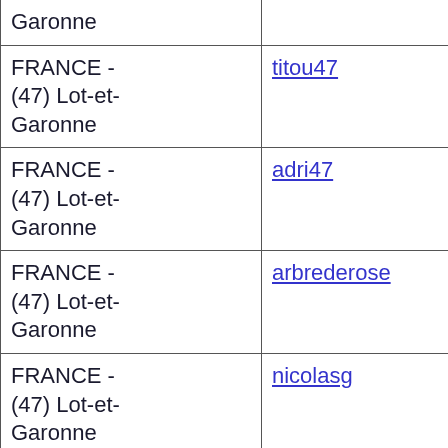| Location | Username |
| --- | --- |
| FRANCE - (47) Lot-et-Garonne | Garonne |
| FRANCE - (47) Lot-et-Garonne | titou47 |
| FRANCE - (47) Lot-et-Garonne | adri47 |
| FRANCE - (47) Lot-et-Garonne | arbrederose |
| FRANCE - (47) Lot-et-Garonne | nicolasg |
| FRANCE - (47) Lot-et-Garonne | ericoppessios04 |
| FRANCE - (47) Lot-et-Garonne | bemo47 |
| FRANCE - (47) Lot-et-Garonne | manconi |
| FRANCE - |  |